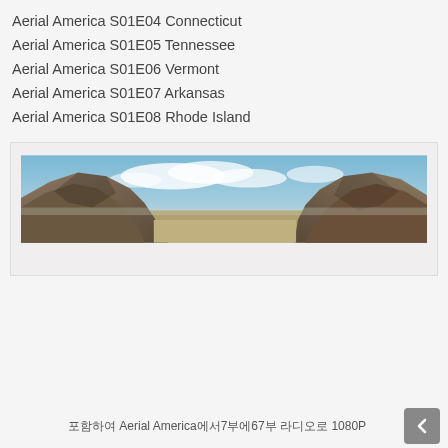Aerial America S01E04 Connecticut
Aerial America S01E05 Tennessee
Aerial America S01E06 Vermont
Aerial America S01E07 Arkansas
Aerial America S01E08 Rhode Island
[Figure (photo): Aerial panoramic landscape showing rocky mountains/mesas on left and right sides with a wide open sky with clouds in the center and a flat desert plain in the middle distance.]
포함하여 Aerial America에서7부에67부 라디오로 1080P